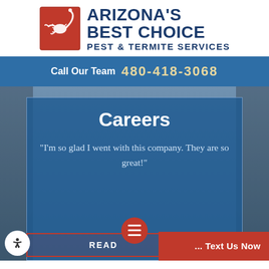[Figure (logo): Arizona's Best Choice Pest & Termite Services logo with red scorpion on Arizona state outline]
Call Our Team 480-418-3068
Careers
"I'm so glad I went with this company. They are so great!"
READ REVIEW!
... Text Us Now